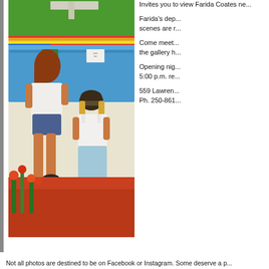[Figure (illustration): Colorful painting of two girls near a blue painted piano outdoors, surrounded by colorful flowers and greenery. One girl stands wearing white top and blue shorts, the other sits on a stool wearing a white tank top and light blue pants.]
Invites you to view Farida Coates new...
Farida's dep... scenes are r...
Come meet... the gallery h...
Opening nig... 5:00 p.m. re...
559 Lawren... Ph. 250-861...
Not all photos are destined to be on Facebook or Instagram. Some deserve a p...